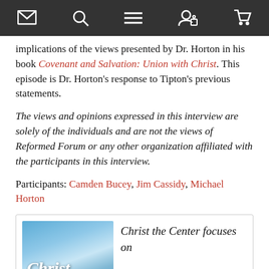[Navigation bar with icons: envelope, search, menu, user/lock, shopping cart]
implications of the views presented by Dr. Horton in his book Covenant and Salvation: Union with Christ. This episode is Dr. Horton’s response to Tipton’s previous statements.
The views and opinions expressed in this interview are solely of the individuals and are not the views of Reformed Forum or any other organization affiliated with the participants in this interview.
Participants: Camden Bucey, Jim Cassidy, Michael Horton
[Figure (illustration): Book cover image with text 'Christ' on a blue sky background]
Christ the Center focuses on